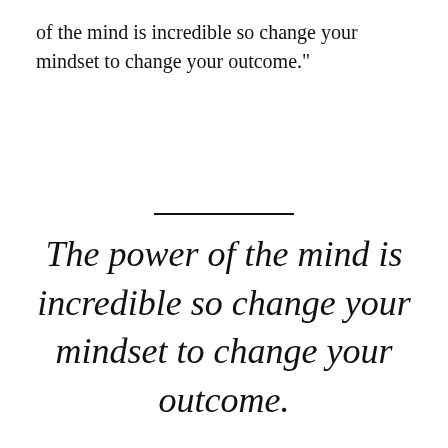of the mind is incredible so change your mindset to change your outcome."
The power of the mind is incredible so change your mindset to change your outcome.